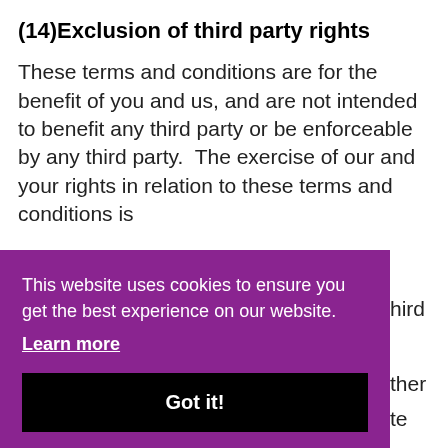(14)Exclusion of third party rights
These terms and conditions are for the benefit of you and us, and are not intended to benefit any third party or be enforceable by any third party.  The exercise of our and your rights in relation to these terms and conditions is [not subject to the consent of any third party. [other text] [ite] the entire agreement between you and
This website uses cookies to ensure you get the best experience on our website. Learn more Got it!